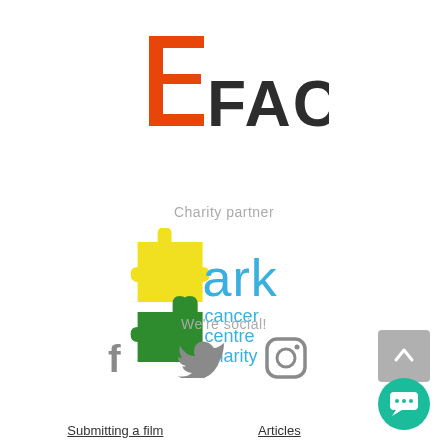[Figure (logo): FACE logo with orange angular bracket icon and dark text reading FACE]
Charity partner
[Figure (logo): Ark cancer centre charity logo with yellow and green puzzle pieces and blue text]
We're social!
[Figure (other): Social media icons: Facebook, Twitter, Instagram, and a scroll-to-top button]
Submitting a film    Articles